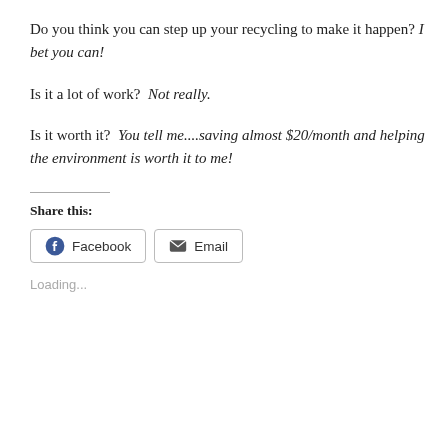Do you think you can step up your recycling to make it happen? I bet you can!
Is it a lot of work?  Not really.
Is it worth it?  You tell me....saving almost $20/month and helping the environment is worth it to me!
Share this:
Facebook
Email
Loading...